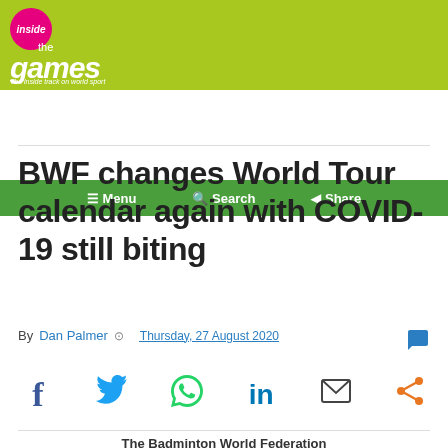[Figure (logo): Inside The Games logo - pink circle with 'inside' text, green background with 'the games' italic text and tagline 'The inside track on world sport']
≡ Menu  🔍 Search  ◀ Share
BWF changes World Tour calendar again with COVID-19 still biting
By Dan Palmer  © Thursday, 27 August 2020
The Badminton World Federation